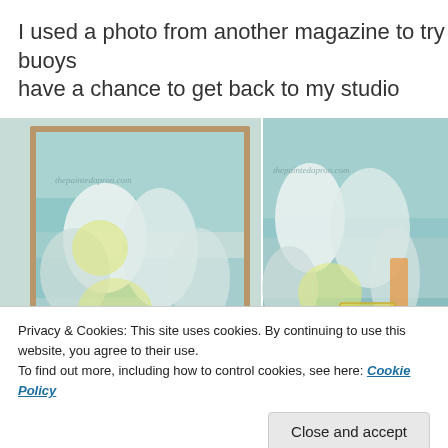I used a photo from another magazine to try buoys have a chance to get back to my studio
[Figure (photo): Two side-by-side watercolor paintings of buoys in soft teal, white, and yellow tones, with a thepaintedapron.com watermark on each]
Privacy & Cookies: This site uses cookies. By continuing to use this website, you agree to their use.
To find out more, including how to control cookies, see here: Cookie Policy
Close and accept